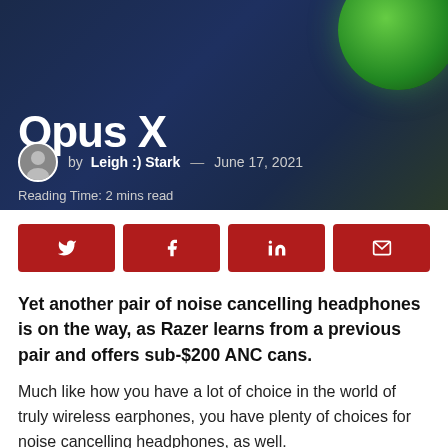[Figure (photo): Hero image with dark navy/teal background and green orb/headphone earpiece in top right corner, showing partial article title text]
Opus X
by Leigh :) Stark — June 17, 2021
Reading Time: 2 mins read
[Figure (infographic): Four red social share buttons: Twitter, Facebook, LinkedIn, Email]
Yet another pair of noise cancelling headphones is on the way, as Razer learns from a previous pair and offers sub-$200 ANC cans.
Much like how you have a lot of choice in the world of truly wireless earphones, you have plenty of choices for noise cancelling headphones, as well.
There are a number...